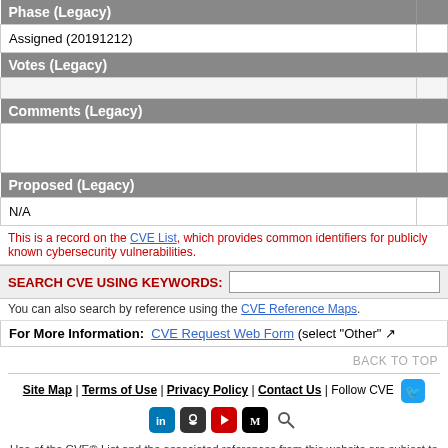| Phase (Legacy) |  |
| --- | --- |
| Assigned (20191212) |  |
| Votes (Legacy) |  |
| --- | --- |
|  |  |
| Comments (Legacy) |  |
| --- | --- |
|  |  |
| Proposed (Legacy) |  |
| --- | --- |
| N/A |  |
This is a record on the CVE List, which provides common identifiers for publicly known cybersecurity vulnerabilities.
SEARCH CVE USING KEYWORDS:
You can also search by reference using the CVE Reference Maps.
For More Information: CVE Request Web Form (select "Other"
BACK TO TOP
Site Map | Terms of Use | Privacy Policy | Contact Us | Follow CVE
Use of the CVE® List and the associated references from this website are subject to the terms of use. CVE is sponsored by the U.S. Department of Homeland